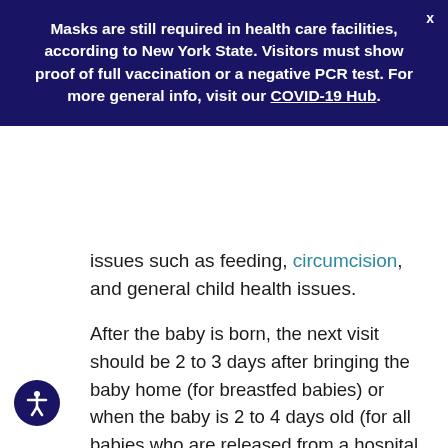Masks are still required in health care facilities, according to New York State. Visitors must show proof of full vaccination or a negative PCR test. For more general info, visit our COVID-19 Hub.
issues such as feeding, circumcision, and general child health issues.
After the baby is born, the next visit should be 2 to 3 days after bringing the baby home (for breastfed babies) or when the baby is 2 to 4 days old (for all babies who are released from a hospital before they are 2 days old). Some providers will delay the visit until the baby is 1 to 2 weeks old for parents who have had babies before.
After that, it is recommended that visits occur at the following ages (your provider may have you add or skip visits depending